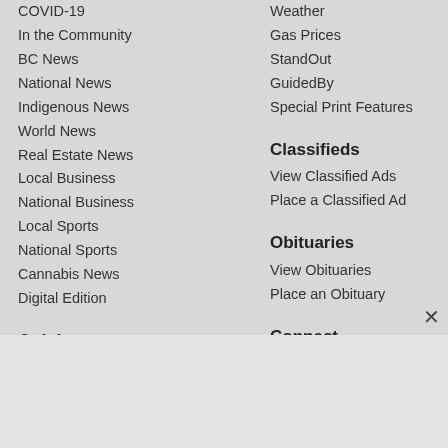COVID-19
In the Community
BC News
National News
Indigenous News
World News
Real Estate News
Local Business
National Business
Local Sports
National Sports
Cannabis News
Digital Edition
Opinion
Opinion
Send us a letter
Arts & Life
Weather
Gas Prices
StandOut
GuidedBy
Special Print Features
Classifieds
View Classified Ads
Place a Classified Ad
Obituaries
View Obituaries
Place an Obituary
Connect
Contact Us
Daily Headlines Email
Support Local News